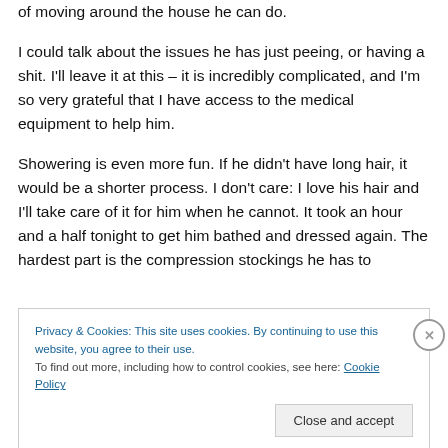of moving around the house he can do.
I could talk about the issues he has just peeing, or having a shit. I'll leave it at this – it is incredibly complicated, and I'm so very grateful that I have access to the medical equipment to help him.
Showering is even more fun. If he didn't have long hair, it would be a shorter process. I don't care: I love his hair and I'll take care of it for him when he cannot. It took an hour and a half tonight to get him bathed and dressed again. The hardest part is the compression stockings he has to
Privacy & Cookies: This site uses cookies. By continuing to use this website, you agree to their use.
To find out more, including how to control cookies, see here: Cookie Policy
Close and accept